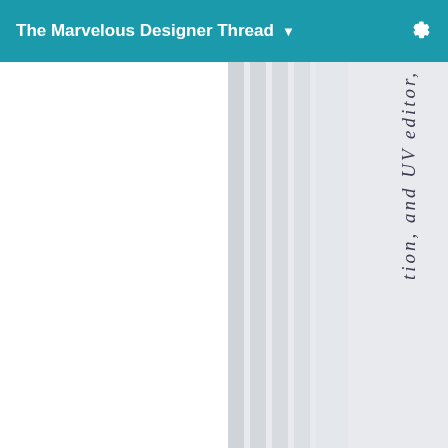The Marvelous Designer Thread ▼
[Figure (screenshot): A multi-column scroll panel with gray background columns and a vertical rotated italic text reading 'tion, and UV editor,' visible on the right side of the panel. The left portion of the content area is white/blank.]